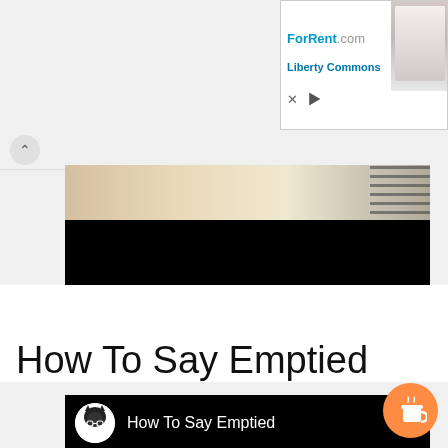[Figure (screenshot): ForRent.com advertisement banner with apartment photo and Liberty Commons text]
[Figure (screenshot): Partially visible browser UI with back arrow button and a video/media content block showing a spiral notebook image over black background]
How To Say Emptied
[Figure (screenshot): YouTube-style channel card with avatar icon showing How To Say Emptied channel name on black background, with three-dot menu icon]
[Figure (illustration): Orange circular coffee cup button (Buy Me a Coffee widget) in the bottom-right corner]